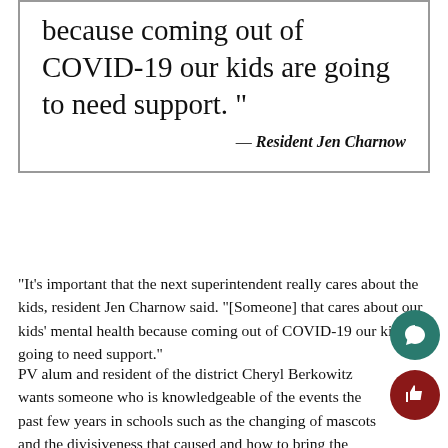because coming out of COVID-19 our kids are going to need support. "  — Resident Jen Charnow
“It’s important that the next superintendent really cares about the kids, resident Jen Charnow said. “[Someone] that cares about our kids’ mental health because coming out of COVID-19 our kids are going to need support.”
PV alum and resident of the district Cheryl Berkowitz wants someone who is knowledgeable of the events the past few years in schools such as the changing of mascots and the divisiveness that caused and how to bring the community together.